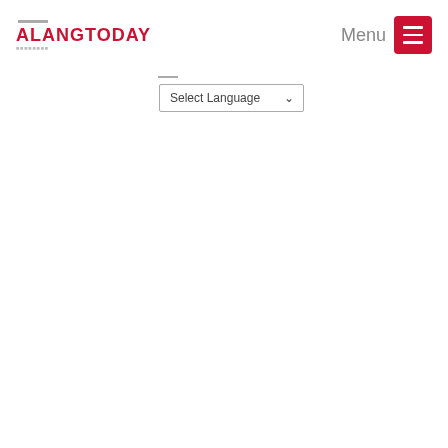[Figure (logo): ALANGTODAY website logo in red bold text with gray tagline below]
Menu
[Figure (other): Red hamburger menu button with three white horizontal lines]
[Figure (other): Select Language dropdown control]